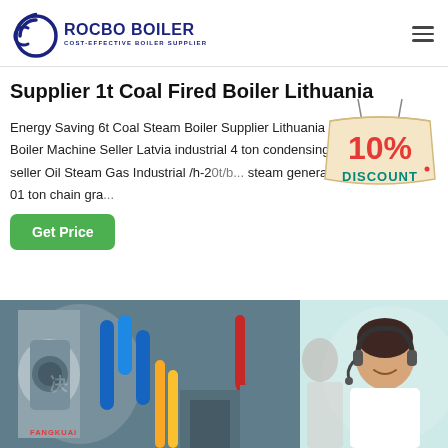[Figure (logo): Rocbo Boiler logo with circular arc icon and text 'ROCBO BOILER / COST-EFFECTIVE BOILER SUPPLIER']
Supplier 1t Coal Fired Boiler Lithuania
Energy Saving 6t Coal Steam Boiler Supplier Lithuania 1t Coal Fired Boiler Machine Seller Latvia industrial 4 ton condensing steam boilers seller Oil Steam Gas Industrial /h-20t/h... steam generator | Industrial Gas 01 ton chain gra...
[Figure (infographic): 10% DISCOUNT badge/sign hanging from strings]
[Figure (photo): Fangkuai industrial boiler equipment in a factory setting with blue and yellow pipes, and a customer service operator wearing a headset overlaid on the right side]